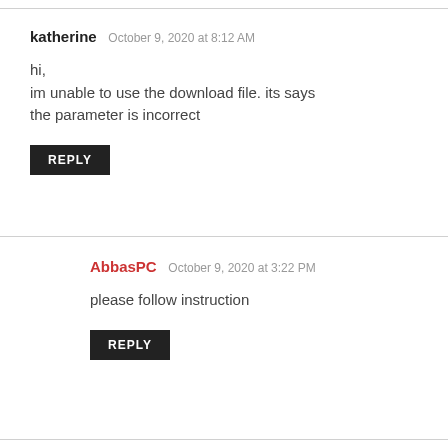katherine  October 9, 2020 at 8:12 AM
hi,
im unable to use the download file. its says the parameter is incorrect
REPLY
AbbasPC  October 9, 2020 at 3:22 PM
please follow instruction
REPLY